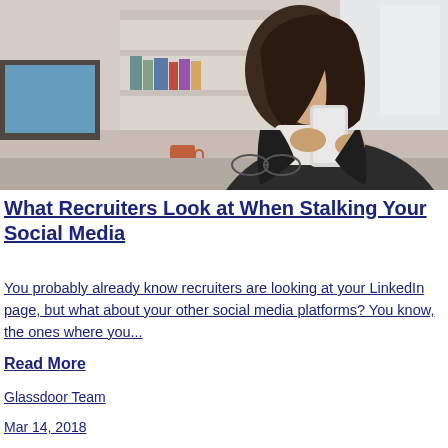[Figure (photo): A woman in a dark blazer looking at her smartphone, sitting at an office desk with a computer monitor, coffee mug, and shelves in the background.]
What Recruiters Look at When Stalking Your Social Media
You probably already know recruiters are looking at your LinkedIn page, but what about your other social media platforms? You know, the ones where you...
Read More
Glassdoor Team
Mar 14, 2018